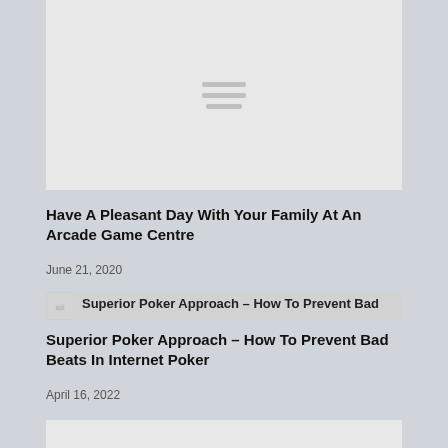[Figure (other): Gray image placeholder with hamburger/menu icon lines in center]
Have A Pleasant Day With Your Family At An Arcade Game Centre
June 21, 2020
[Figure (other): Overlapping thumbnail image placeholder and gray bar showing article title preview: Superior Poker Approach – How To Prevent Bad]
Superior Poker Approach – How To Prevent Bad Beats In Internet Poker
April 16, 2022
[Figure (other): Gray image placeholder at bottom, partially visible]